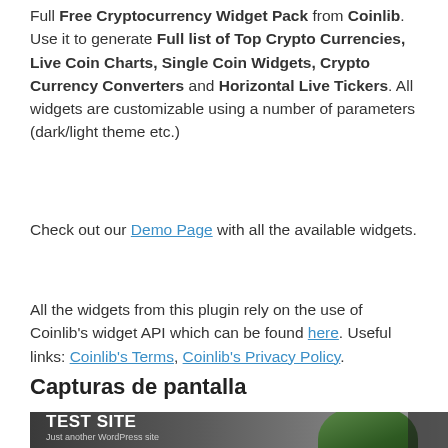Full Free Cryptocurrency Widget Pack from Coinlib. Use it to generate Full list of Top Crypto Currencies, Live Coin Charts, Single Coin Widgets, Crypto Currency Converters and Horizontal Live Tickers. All widgets are customizable using a number of parameters (dark/light theme etc.)
Check out our Demo Page with all the available widgets.
All the widgets from this plugin rely on the use of Coinlib’s widget API which can be found here. Useful links: Coinlib’s Terms, Coinlib’s Privacy Policy.
Capturas de pantalla
[Figure (screenshot): Screenshot showing a test site with a dark header area containing a plant decoration and 'TEST SITE / Just another WordPress site' text]